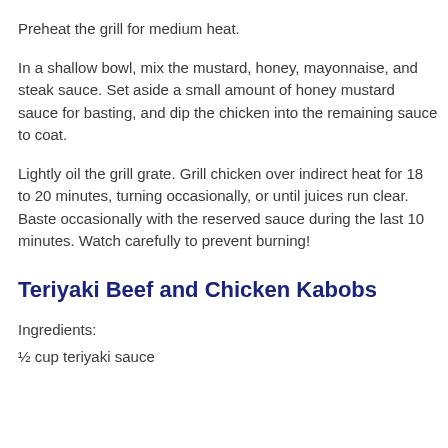Preheat the grill for medium heat.
In a shallow bowl, mix the mustard, honey, mayonnaise, and steak sauce. Set aside a small amount of honey mustard sauce for basting, and dip the chicken into the remaining sauce to coat.
Lightly oil the grill grate. Grill chicken over indirect heat for 18 to 20 minutes, turning occasionally, or until juices run clear. Baste occasionally with the reserved sauce during the last 10 minutes. Watch carefully to prevent burning!
Teriyaki Beef and Chicken Kabobs
Ingredients:
½ cup teriyaki sauce